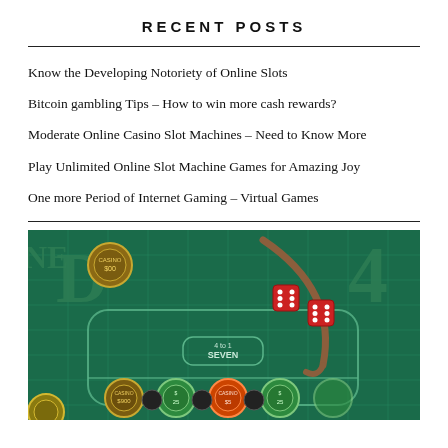RECENT POSTS
Know the Developing Notoriety of Online Slots
Bitcoin gambling Tips – How to win more cash rewards?
Moderate Online Casino Slot Machines – Need to Know More
Play Unlimited Online Slot Machine Games for Amazing Joy
One more Period of Internet Gaming – Virtual Games
[Figure (photo): Aerial view of a casino craps table with green felt, casino chips, two red dice, and a wooden stick/rake on the table surface. Text on table reads '4 to 1 SEVEN'.]